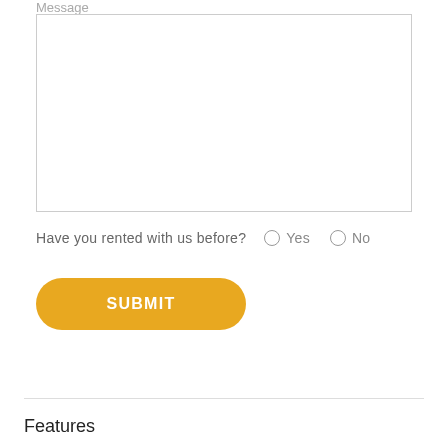Message
[Figure (screenshot): Empty text area input field with light gray border]
Have you rented with us before?  ○ Yes  ○ No
[Figure (screenshot): Yellow rounded submit button with white text SUBMIT]
Features